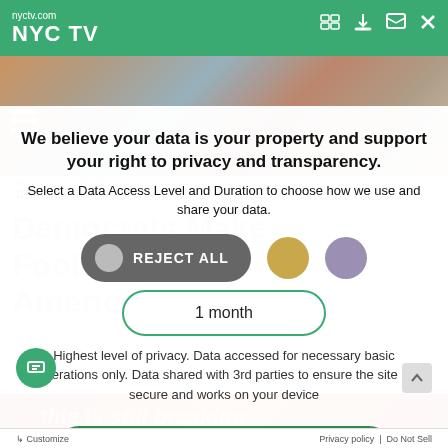nyctv.com NYC TV
We believe your data is your property and support your right to privacy and transparency.
Select a Data Access Level and Duration to choose how we use and share your data.
REJECT ALL
1 month
Highest level of privacy. Data accessed for necessary basic operations only. Data shared with 3rd parties to ensure the site is secure and works on your device
Democrats Make Fools of America
nyctv   February 17, 2021
Save my preferences
Customize   Privacy policy | Do Not Sell